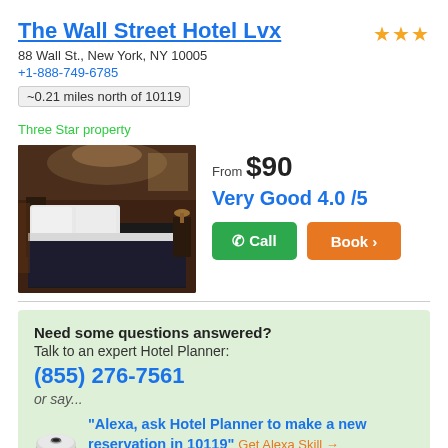The Wall Street Hotel Lvx
88 Wall St., New York, NY 10005
+1-888-749-6785
~0.21 miles north of 10119
Three Star property
[Figure (photo): Hotel room photo showing a bed with white pillows and dark bedding, brown walls, and ambient lighting]
From $90
Very Good 4.0 /5
Call | Book
Need some questions answered? Talk to an expert Hotel Planner: (855) 276-7561 or say... "Alexa, ask Hotel Planner to make a new reservation in 10119" Get Alexa Skill →